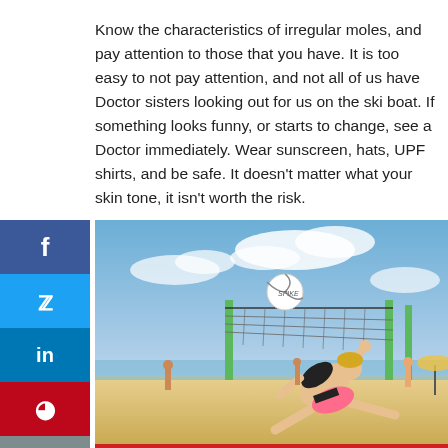Know the characteristics of irregular moles, and pay attention to those that you have. It is too easy to not pay attention, and not all of us have Doctor sisters looking out for us on the ski boat. If something looks funny, or starts to change, see a Doctor immediately. Wear sunscreen, hats, UPF shirts, and be safe. It doesn't matter what your skin tone, it isn't worth the risk.
[Figure (photo): A woman in a black bikini playing beach volleyball, diving to hit a ball on a sunny beach with a green net and other players in the background.]